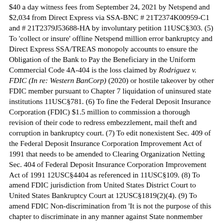$40 a day witness fees from September 24, 2021 by Netspend and $2,034 from Direct Express via SSA-BNC # 21T2374K00959-C1 and # 21T2379J53688-HA by involuntary petition 11USC§303. (5) To 'collect or insure' offline Netspend million error bankruptcy and Direct Express SSA/TREAS monopoly accounts to ensure the Obligation of the Bank to Pay the Beneficiary in the Uniform Commercial Code 4A-404 is the loss claimed by Rodriguez v. FDIC (In re: Western BanCorp) (2020) or hostile takeover by other FDIC member pursuant to Chapter 7 liquidation of uninsured state institutions 11USC§781. (6) To fine the Federal Deposit Insurance Corporation (FDIC) $1.5 million to commission a thorough revision of their code to redress embezzlement, mail theft and corruption in bankruptcy court. (7) To edit nonexistent Sec. 409 of the Federal Deposit Insurance Corporation Improvement Act of 1991 that needs to be amended to Clearing Organization Netting Sec. 404 of Federal Deposit Insurance Corporation Improvement Act of 1991 12USC§4404 as referenced in 11USC§109. (8) To amend FDIC jurisdiction from United States District Court to United States Bankruptcy Court at 12USC§1819(2)(4). (9) To amend FDIC Non-discrimination from 'It is not the purpose of this chapter to discriminate in any manner against State nonmember banks or State savings associations and in favor of national or member banks or Federal savings associations, respectively. It is the purpose of this chapter to provide all banks and savings associations, with the same opportunity to obtain and enjoy the